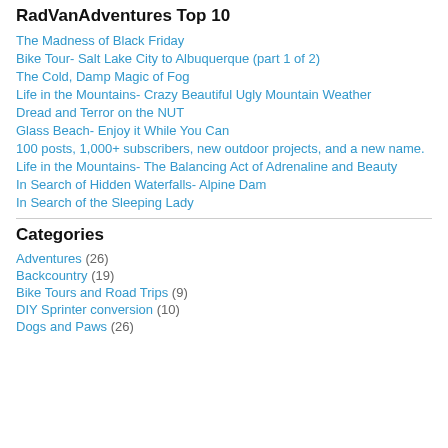RadVanAdventures Top 10
The Madness of Black Friday
Bike Tour- Salt Lake City to Albuquerque (part 1 of 2)
The Cold, Damp Magic of Fog
Life in the Mountains- Crazy Beautiful Ugly Mountain Weather
Dread and Terror on the NUT
Glass Beach- Enjoy it While You Can
100 posts, 1,000+ subscribers, new outdoor projects, and a new name.
Life in the Mountains- The Balancing Act of Adrenaline and Beauty
In Search of Hidden Waterfalls- Alpine Dam
In Search of the Sleeping Lady
Categories
Adventures (26)
Backcountry (19)
Bike Tours and Road Trips (9)
DIY Sprinter conversion (10)
Dogs and Paws (26)